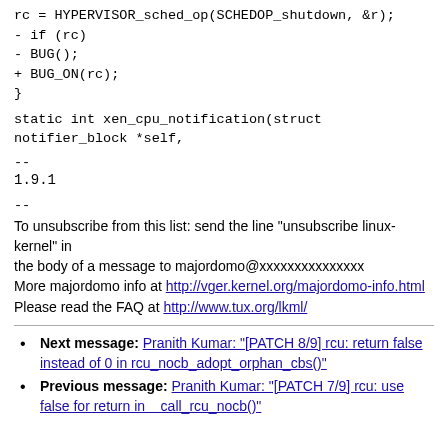rc = HYPERVISOR_sched_op(SCHEDOP_shutdown, &r);
- if (rc)
- BUG();
+ BUG_ON(rc);
}
static int xen_cpu_notification(struct notifier_block *self,
--
1.9.1
--
To unsubscribe from this list: send the line "unsubscribe linux-kernel" in
the body of a message to majordomo@xxxxxxxxxxxxxxx
More majordomo info at http://vger.kernel.org/majordomo-info.html
Please read the FAQ at http://www.tux.org/lkml/
Next message: Pranith Kumar: "[PATCH 8/9] rcu: return false instead of 0 in rcu_nocb_adopt_orphan_cbs()"
Previous message: Pranith Kumar: "[PATCH 7/9] rcu: use false for return in    call_rcu_nocb()"